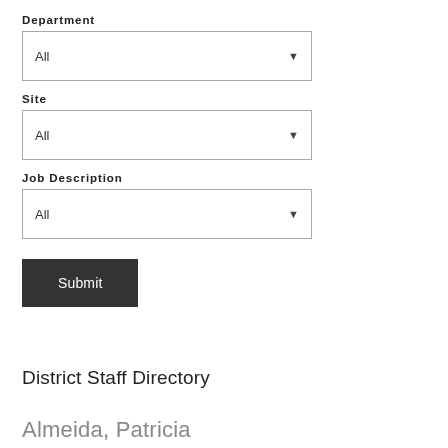Department
All
Site
All
Job Description
All
Submit
District Staff Directory
Almeida, Patricia
Counselor Alternative
palmeida@yisd.net